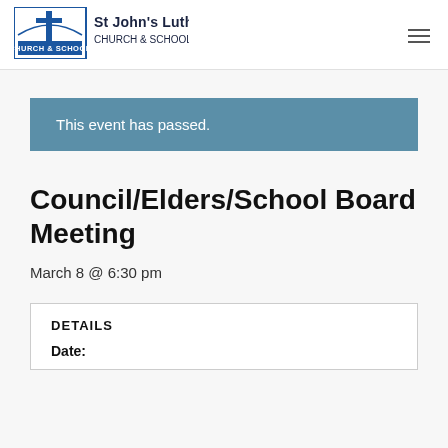[Figure (logo): St John's Lutheran Church & School logo with cross icon]
This event has passed.
Council/Elders/School Board Meeting
March 8 @ 6:30 pm
DETAILS
Date: